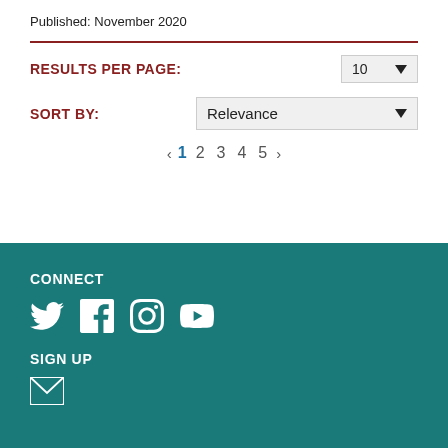Published: November 2020
RESULTS PER PAGE: 10
SORT BY: Relevance
‹ 1 2 3 4 5 ›
CONNECT
SIGN UP